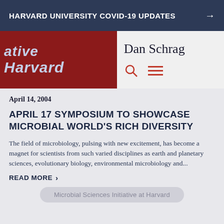HARVARD UNIVERSITY COVID-19 UPDATES →
[Figure (screenshot): Screenshot showing partial Harvard initiative logo on red background (left) and 'Dan Schrag' text with search and menu icons on grey background (right)]
April 14, 2004
APRIL 17 SYMPOSIUM TO SHOWCASE MICROBIAL WORLD'S RICH DIVERSITY
The field of microbiology, pulsing with new excitement, has become a magnet for scientists from such varied disciplines as earth and planetary sciences, evolutionary biology, environmental microbiology and...
READ MORE >
Microbial Sciences Initiative at Harvard